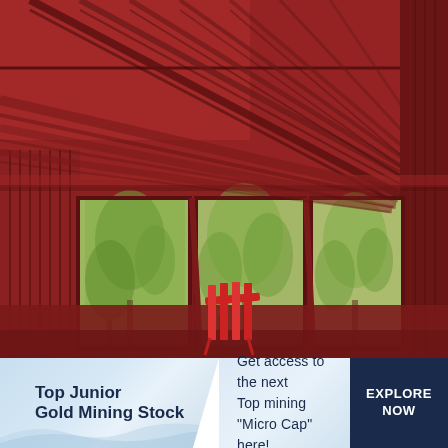[Figure (photo): Interior photo of a red-painted wooden porch or sunroom with exposed beam ceiling, vertical board walls, and three large windows looking out onto green trees. A red folding chair is visible in front of the windows.]
Top Junior Gold Mining Stock
Get access to the next Top mining "Micro Cap" here!
EXPLORE NOW